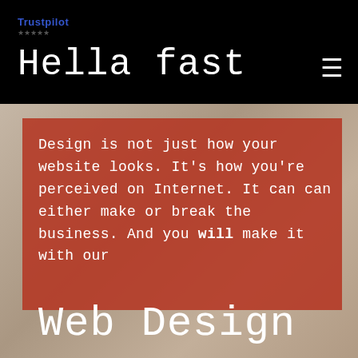Trustpilot
Hella fast
[Figure (photo): Background photo of a desk/workspace with decorative items, partially visible behind a dark red overlay]
Design is not just how your website looks. It's how you're perceived on Internet. It can can either make or break the business. And you will make it with our
Web Design